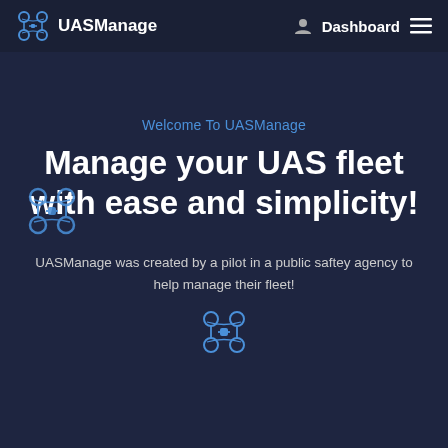UASManage   Dashboard  ≡
Welcome To UASManage
Manage your UAS fleet with ease and simplicity!
UASManage was created by a pilot in a public saftey agency to help manage their fleet!
[Figure (illustration): Drone icon displayed in the hero section and at bottom of page]